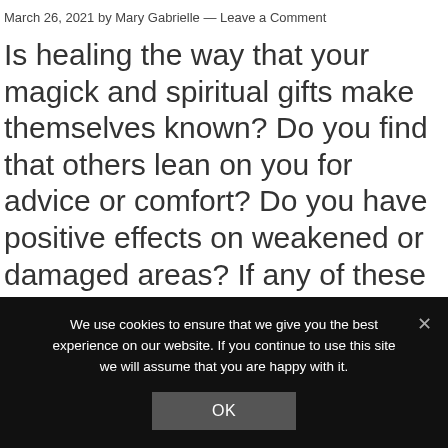March 26, 2021 by Mary Gabrielle — Leave a Comment
Is healing the way that your magick and spiritual gifts make themselves known? Do you find that others lean on you for advice or comfort? Do you have positive effects on weakened or damaged areas? If any of these are true for you, the Healer might be one of your primary magical archetypes. I invite you to explore what kinds of … [Read more...]
We use cookies to ensure that we give you the best experience on our website. If you continue to use this site we will assume that you are happy with it.